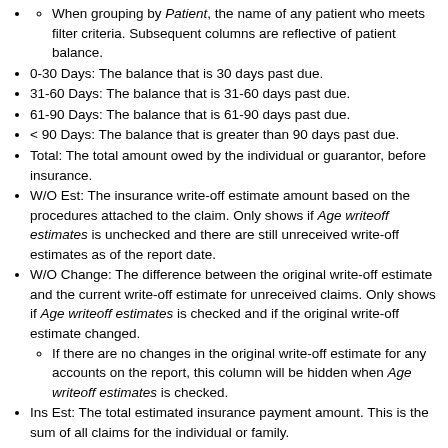When grouping by Patient, the name of any patient who meets filter criteria. Subsequent columns are reflective of patient balance.
0-30 Days: The balance that is 30 days past due.
31-60 Days: The balance that is 31-60 days past due.
61-90 Days: The balance that is 61-90 days past due.
< 90 Days: The balance that is greater than 90 days past due.
Total: The total amount owed by the individual or guarantor, before insurance.
W/O Est: The insurance write-off estimate amount based on the procedures attached to the claim. Only shows if Age writeoff estimates is unchecked and there are still unreceived write-off estimates as of the report date.
W/O Change: The difference between the original write-off estimate and the current write-off estimate for unreceived claims. Only shows if Age writeoff estimates is checked and if the original write-off estimate changed.
If there are no changes in the original write-off estimate for any accounts on the report, this column will be hidden when Age writeoff estimates is checked.
Ins Est: The total estimated insurance payment amount. This is the sum of all claims for the individual or family.
Patient: The estimated patient portion.
When Age writeoff estimates is unchecked this is calculated by Total - Ins Est - W/O Est = Patient.
When Age writeoff estimates is checked this by Total - Ins Est - W/O Change = Patient.
Last Pay Date: The date of the last received patient payment.